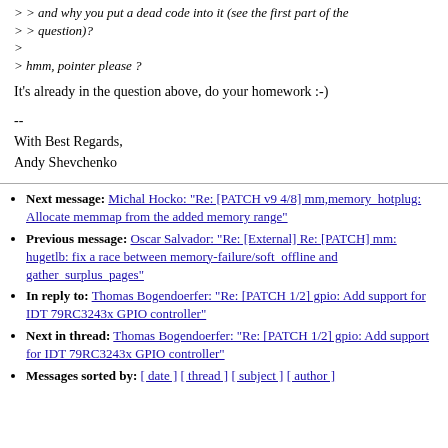> > and why you put a dead code into it (see the first part of the > > question)?
>
> hmm, pointer please ?
It's already in the question above, do your homework :-)
--
With Best Regards,
Andy Shevchenko
Next message: Michal Hocko: "Re: [PATCH v9 4/8] mm,memory_hotplug: Allocate memmap from the added memory range"
Previous message: Oscar Salvador: "Re: [External] Re: [PATCH] mm: hugetlb: fix a race between memory-failure/soft_offline and gather_surplus_pages"
In reply to: Thomas Bogendoerfer: "Re: [PATCH 1/2] gpio: Add support for IDT 79RC3243x GPIO controller"
Next in thread: Thomas Bogendoerfer: "Re: [PATCH 1/2] gpio: Add support for IDT 79RC3243x GPIO controller"
Messages sorted by: [ date ] [ thread ] [ subject ] [ author ]